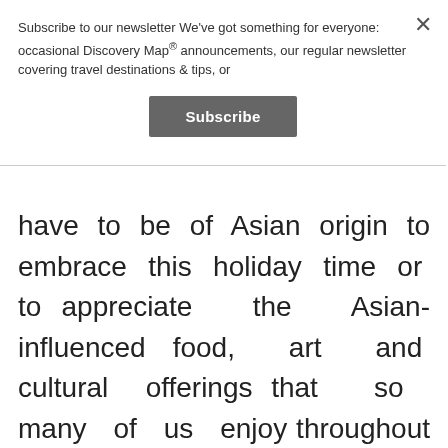Subscribe to our newsletter We've got something for everyone: occasional Discovery Map® announcements, our regular newsletter covering travel destinations & tips, or
Subscribe
have to be of Asian origin to embrace this holiday time or to appreciate the Asian-influenced food, art and cultural offerings that so many of us enjoy throughout the year.
Celebrated in Chinatowns, Asian